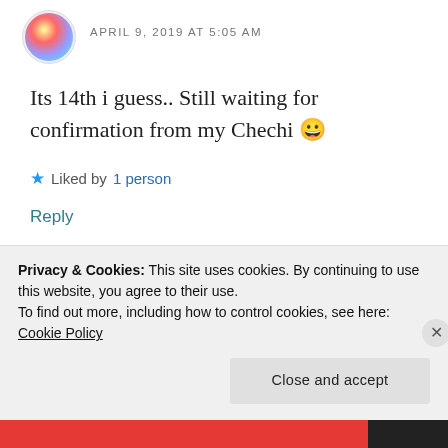APRIL 9, 2019 AT 5:05 AM
Its 14th i guess.. Still waiting for confirmation from my Chechi 😀
★ Liked by 1person
Reply
ladkikijhy
APRIL 9, 2019 AT 13:13
Privacy & Cookies: This site uses cookies. By continuing to use this website, you agree to their use.
To find out more, including how to control cookies, see here: Cookie Policy
Close and accept